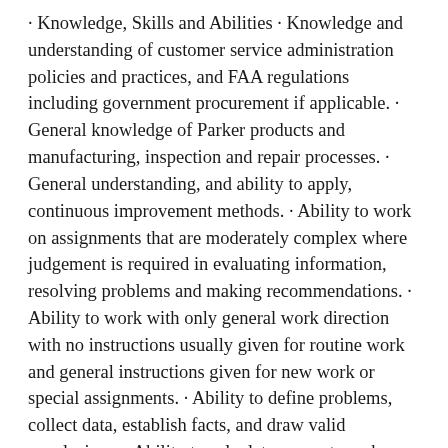· Knowledge, Skills and Abilities · Knowledge and understanding of customer service administration policies and practices, and FAA regulations including government procurement if applicable. · General knowledge of Parker products and manufacturing, inspection and repair processes. · General understanding, and ability to apply, continuous improvement methods. · Ability to work on assignments that are moderately complex where judgement is required in evaluating information, resolving problems and making recommendations. · Ability to work with only general work direction with no instructions usually given for routine work and general instructions given for new work or special assignments. · Ability to define problems, collect data, establish facts, and draw valid conclusions. · Ability to calculate amounts such as discounts, proportions, and percentages. · Ability to communicate effectively to present ideas, facts and some technical information, and to respond to inquiries and complaints from